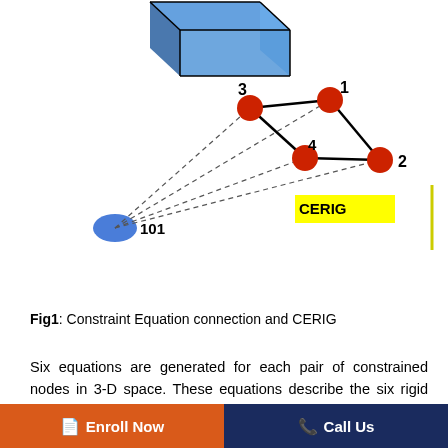[Figure (engineering-diagram): Finite element mesh diagram showing a rigid body (blue box at top left), connected by dashed lines to a quadrilateral element with 4 red nodes labeled 1, 2, 3, 4 in a diamond arrangement. A blue ellipse node labeled 101 at bottom left is connected by dashed lines to the element nodes. A yellow label 'CERIG' appears near center-right. A vertical yellow line on the far right.]
Fig1: Constraint Equation connection and CERIG
Six equations are generated for each pair of constrained nodes in 3-D space. These equations describe the six rigid body motions in global Cartesian space. These equations assume that UX, UY, UZ, ROTX, ROTY, and ROTZ degrees of freedom
Enroll Now   Call Us